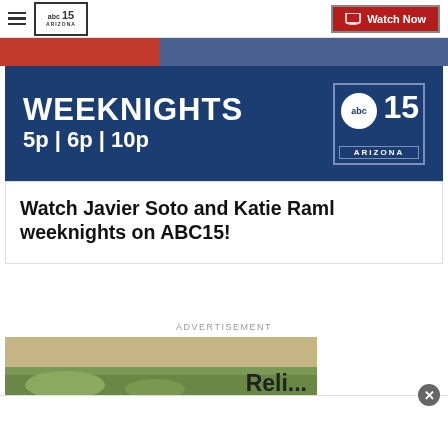ABC15 Arizona — Watch Now navigation bar
[Figure (screenshot): ABC15 Arizona weeknights banner: WEEKNIGHTS 5p | 6p | 10p with ABC15 Arizona logo]
Watch Javier Soto and Katie Raml weeknights on ABC15!
ADVERTISEMENT
[Figure (photo): Partial advertisement image showing desert landscape and partial text]